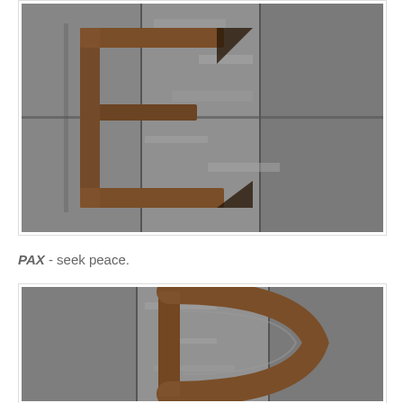[Figure (photo): Close-up photograph of a square/rectangular metal bracket or clasp mounted on weathered gray wooden planks, viewed from above. The metal piece appears rusty brown against the cracked gray wood.]
PAX - seek peace.
[Figure (photo): Close-up photograph of a D-shaped metal ring or handle lying on weathered gray wooden planks. The metal is rusty brown and the wood is cracked and weathered.]